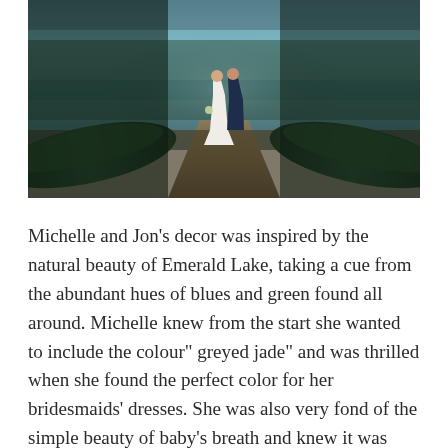[Figure (photo): Wedding photo of a bride in a white dress and groom in a navy suit standing between two canoes near the shore of Emerald Lake, with teal blue water and green surroundings in the background.]
Michelle and Jon's decor was inspired by the natural beauty of Emerald Lake, taking a cue from the abundant hues of blues and green found all around. Michelle knew from the start she wanted to include the colour" greyed jade" and was thrilled when she found the perfect color for her bridesmaids' dresses. She was also very fond of the simple beauty of baby's breath and knew it was something she would like to include on her special day. We had the perfect starting point for the rest of her decor!